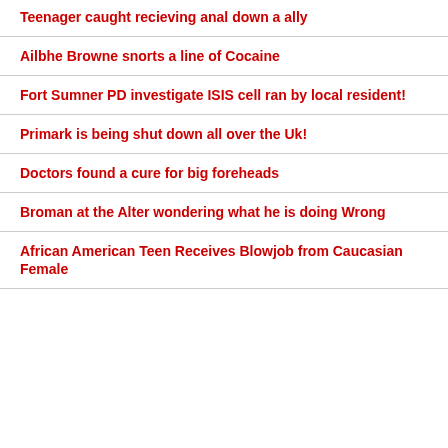Teenager caught recieving anal down a ally
Ailbhe Browne snorts a line of Cocaine
Fort Sumner PD investigate ISIS cell ran by local resident!
Primark is being shut down all over the Uk!
Doctors found a cure for big foreheads
Broman at the Alter wondering what he is doing Wrong
African American Teen Receives Blowjob from Caucasian Female